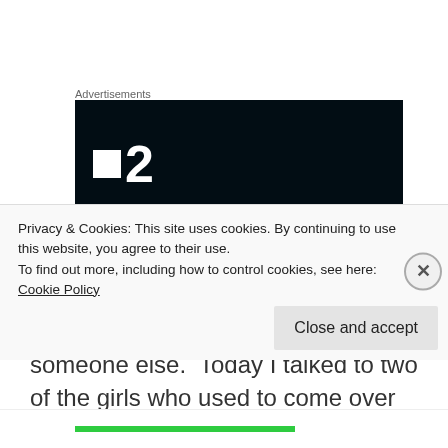Advertisements
[Figure (logo): Dark navy/black banner advertisement with a white square icon and bold white number '2' — resembling a TV channel 2 logo]
There is nothing that makes life good like having children around, whether they belong to me or someone else.  Today I talked to two of the girls who used to come over when they were in town at their grandma's and play
Privacy & Cookies: This site uses cookies. By continuing to use this website, you agree to their use.
To find out more, including how to control cookies, see here: Cookie Policy
Close and accept